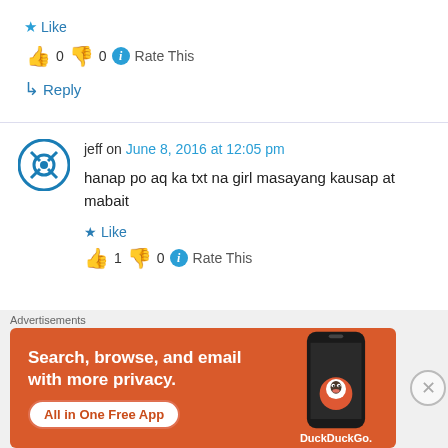★ Like
👍 0 👎 0 ℹ Rate This
↳ Reply
jeff on June 8, 2016 at 12:05 pm
hanap po aq ka txt na girl masayang kausap at mabait
★ Like
👍 1 👎 0 ℹ Rate This
[Figure (screenshot): DuckDuckGo advertisement banner: orange background with text 'Search, browse, and email with more privacy. All in One Free App' and DuckDuckGo logo on a phone graphic.]